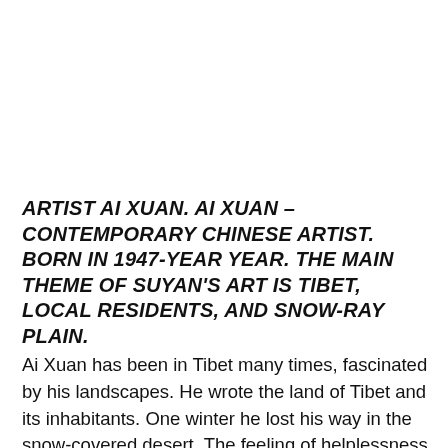ARTIST AI XUAN. AI XUAN – CONTEMPORARY CHINESE ARTIST. BORN IN 1947-YEAR YEAR. THE MAIN THEME OF SUYAN'S ART IS TIBET, LOCAL RESIDENTS, AND SNOW-RAY PLAIN.
Ai Xuan has been in Tibet many times, fascinated by his landscapes. He wrote the land of Tibet and its inhabitants. One winter he lost his way in the snow-covered desert. The feeling of helplessness and loneliness, then experienced, was a shock to the artist. Since then, he began to write Tibet and people living